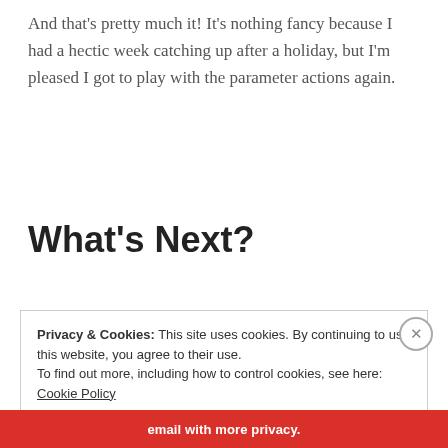And that's pretty much it! It's nothing fancy because I had a hectic week catching up after a holiday, but I'm pleased I got to play with the parameter actions again.
What's Next?
Privacy & Cookies: This site uses cookies. By continuing to use this website, you agree to their use. To find out more, including how to control cookies, see here: Cookie Policy
Close and accept
email with more privacy.